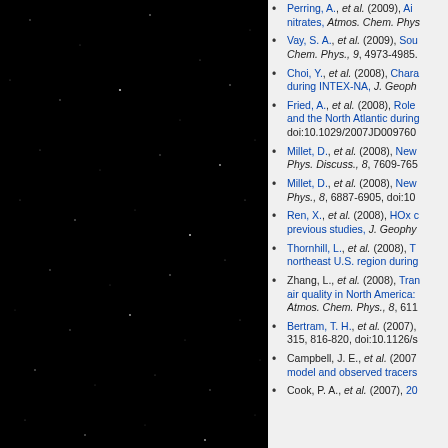[Figure (photo): Dark night sky with scattered stars, black background]
Perring, A., et al. (2009), Airborne observations of total alkyl nitrates, Atmos. Chem. Phys...
Vay, S. A., et al. (2009), Sources and... Chem. Phys., 9, 4973-4985.
Choi, Y., et al. (2008), Characteristics... during INTEX-NA, J. Geoph...
Fried, A., et al. (2008), Role of... and the North Atlantic during... doi:10.1029/2007JD009760
Millet, D., et al. (2008), New... Phys. Discuss., 8, 7609-765...
Millet, D., et al. (2008), New... Phys., 8, 6887-6905, doi:10...
Ren, X., et al. (2008), HOx chemistry... previous studies, J. Geophy...
Thornhill, L., et al. (2008), T... northeast U.S. region during...
Zhang, L., et al. (2008), Transpacific... air quality in North America:... Atmos. Chem. Phys., 8, 611...
Bertram, T. H., et al. (2007),... 315, 816-820, doi:10.1126/s...
Campbell, J. E., et al. (2007)... model and observed tracers...
Cook, P. A., et al. (2007), 20...